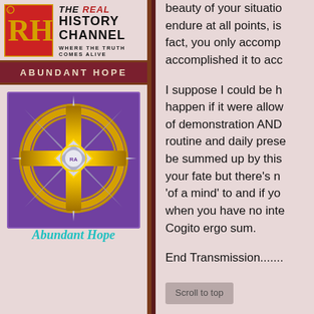[Figure (logo): The Real History Channel logo with RH letters in red/gold on left and text 'THE REAL HISTORY CHANNEL / WHERE THE TRUTH COMES ALIVE' on right]
ABUNDANT HOPE
[Figure (logo): Abundant Hope logo: compass star with gold ring on purple background with cursive 'Abundant Hope' text below]
beauty of your situation. endure at all points, is fact, you only accomp accomplished it to acc
I suppose I could be h happen if it were allow of demonstration AND routine and daily prese be summed up by this your fate but there's n 'of a mind' to and if yo when you have no inte Cogito ergo sum.
End Transmission.......